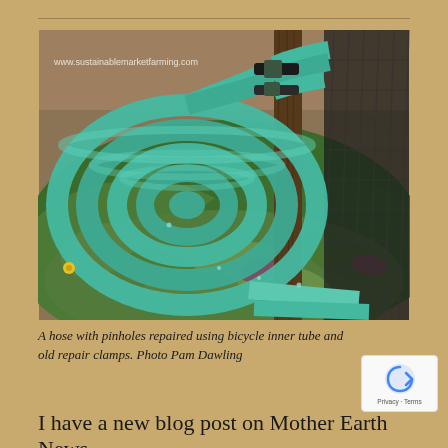[Figure (photo): A coiled teal/turquoise garden hose hung on a wooden post in a garden, repaired with bicycle inner tube and old repair clamps. Watermark text 'www.sustainablemarketfarming.com' visible in upper left of photo.]
A hose with pinholes repaired using bicycle inner tube and old repair clamps. Photo Pam Dawling
I have a new blog post on Mother Earth News